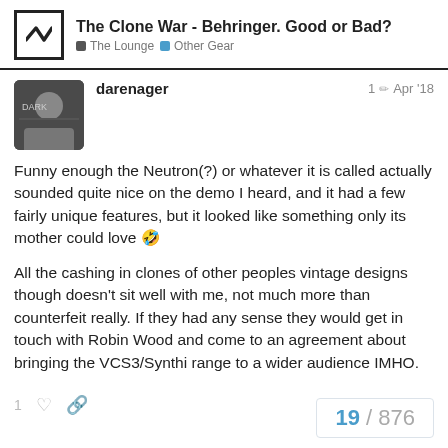The Clone War - Behringer. Good or Bad? | The Lounge | Other Gear
darenager — 1 Apr '18
Funny enough the Neutron(?) or whatever it is called actually sounded quite nice on the demo I heard, and it had a few fairly unique features, but it looked like something only its mother could love 🤣

All the cashing in clones of other peoples vintage designs though doesn't sit well with me, not much more than counterfeit really. If they had any sense they would get in touch with Robin Wood and come to an agreement about bringing the VCS3/Synthi range to a wider audience IMHO.
19 / 876